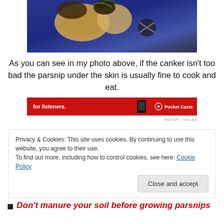[Figure (photo): Close-up photo of parsnips with canker damage on blue background]
As you can see in my photo above, if the canker isn't too bad the parsnip under the skin is usually fine to cook and eat.
[Figure (screenshot): Pocket Casts advertisement banner in red with text 'for listeners.']
REPORT THIS AD
Privacy & Cookies: This site uses cookies. By continuing to use this website, you agree to their use.
To find out more, including how to control cookies, see here: Cookie Policy
Close and accept
Don't manure your soil before growing parsnips